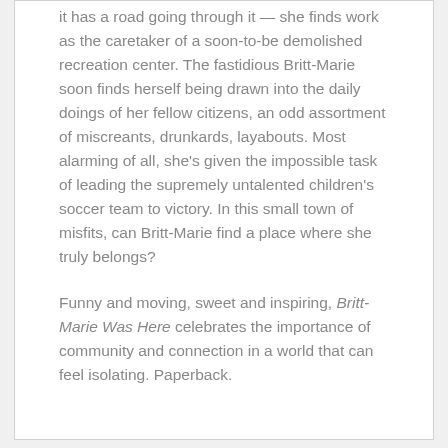it has a road going through it — she finds work as the caretaker of a soon-to-be demolished recreation center. The fastidious Britt-Marie soon finds herself being drawn into the daily doings of her fellow citizens, an odd assortment of miscreants, drunkards, layabouts. Most alarming of all, she's given the impossible task of leading the supremely untalented children's soccer team to victory. In this small town of misfits, can Britt-Marie find a place where she truly belongs?
Funny and moving, sweet and inspiring, Britt-Marie Was Here celebrates the importance of community and connection in a world that can feel isolating. Paperback.